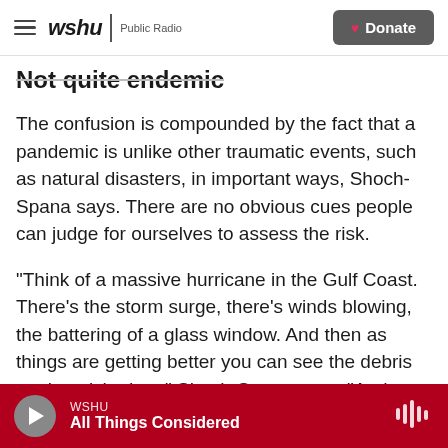wshu | Public Radio  [Donate button]
Not quite endemic
The confusion is compounded by the fact that a pandemic is unlike other traumatic events, such as natural disasters, in important ways, Shoch-Spana says. There are no obvious cues people can judge for ourselves to assess the risk.
"Think of a massive hurricane in the Gulf Coast. There's the storm surge, there's winds blowing, the battering of a glass window. And then as things are getting better you can see the debris getting picked up," Shoch-Spana says. "And so the invisibility of the pathogen is a problem."
WSHU — All Things Considered